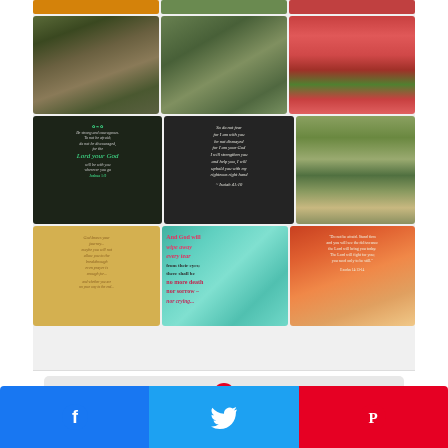[Figure (screenshot): Pinterest image grid collage showing outdoor pergola dining, watermelon plate, bible verse quotes on chalkboard, nature/picnic scene, golden and teal inspirational quote cards, and a sunset silhouette quote.]
Follow On Pinterest
[Figure (logo): Pinterest logo with red circle P and red Pinterest wordmark]
[Figure (screenshot): Facebook share button (blue with f icon)]
[Figure (screenshot): Twitter share button (light blue with bird icon)]
[Figure (screenshot): Pinterest share button (red with P icon)]